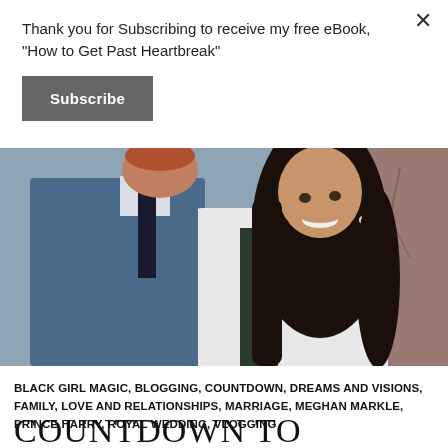Thank you for Subscribing to receive my free eBook, "How to Get Past Heartbreak"
Subscribe
[Figure (photo): A couple — a man in a blue suit and dark tie, and a woman with long dark hair wearing a white blazer — smiling and looking at each other, with a brick wall and bare branches in the background.]
BLACK GIRL MAGIC, BLOGGING, COUNTDOWN, DREAMS AND VISIONS, FAMILY, LOVE AND RELATIONSHIPS, MARRIAGE, MEGHAN MARKLE, PRINCE HARRY, ROYAL WEDDING, VLOGGING
COUNTDOWN TO PRINCE